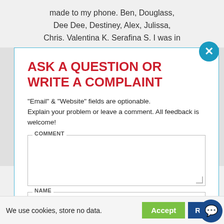made to my phone. Ben, Douglass, Dee Dee, Destiney, Alex, Julissa, Chris. Valentina K. Serafina S. I was in
ASK A QUESTION OR WRITE A COMPLAINT
"Email" & "Website" fields are optionable. Explain your problem or leave a comment. All feedback is welcome!
COMMENT
NAME
EMAIL
We use cookies, store no data.
Accept
Reje